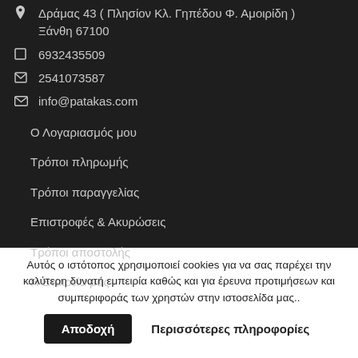Δράμας 43 ( Πλησίον Κλ. Γηπέδου Φ. Αμοιρίδη ) Ξάνθη 67100
6932435509
2541073587
info@patakas.com
Ο Λογαριασμός μου
Τρόποι πληρωμής
Τρόποι παραγγελίας
Επιστροφές & Ακυρώσεις
Τρόποι αποστολής
Η Εταιρεία μας
Αυτός ο ιστότοπος χρησιμοποιεί cookies για να σας παρέχει την καλύτερη δυνατή εμπειρία καθώς και για έρευνα προτιμήσεων και συμπεριφοράς των χρηστών στην ιστοσελίδα μας..
Αποδοχή
Περισσότερες πληροφορίες